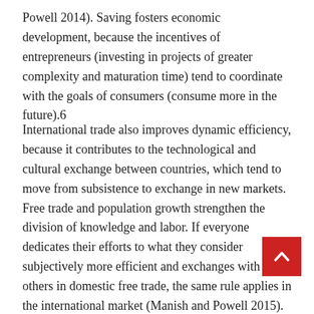Powell 2014). Saving fosters economic development, because the incentives of entrepreneurs (investing in projects of greater complexity and maturation time) tend to coordinate with the goals of consumers (consume more in the future).6
International trade also improves dynamic efficiency, because it contributes to the technological and cultural exchange between countries, which tend to move from subsistence to exchange in new markets. Free trade and population growth strengthen the division of knowledge and labor. If everyone dedicates their efforts to what they consider subjectively more efficient and exchanges with others in domestic free trade, the same rule applies in the international market (Manish and Powell 2015). The most prosperous regions and sectors are those that have established business contacts with the most advanced countries. In contrast, the most impoverished backward populations are generally those with little or foreign trade.